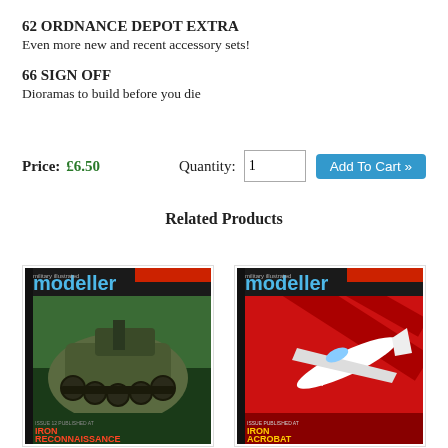62 ORDNANCE DEPOT EXTRA
Even more new and recent accessory sets!
66 SIGN OFF
Dioramas to build before you die
Price: £6.50    Quantity: 1  Add To Cart »
Related Products
[Figure (photo): Military Illustrated Modeller magazine cover showing a tank model, titled 'IRON RECONNAISSANCE']
[Figure (photo): Military Illustrated Modeller magazine cover showing a red aircraft model, titled 'IRON ACROBAT']